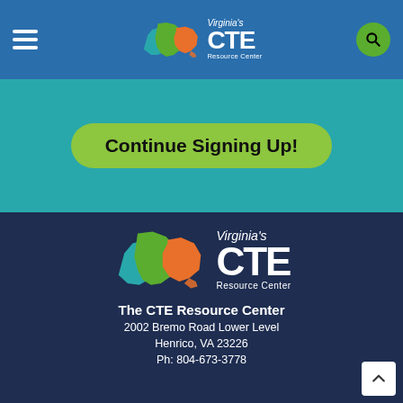[Figure (screenshot): Virginia's CTE Resource Center website header with blue background, hamburger menu, CTE logo (Virginia state map in teal/green/orange), and green search button]
[Figure (logo): Green rounded button with text 'Continue Signing Up!' on teal background]
[Figure (logo): Virginia's CTE Resource Center large logo on dark navy footer]
The CTE Resource Center
2002 Bremo Road Lower Level
Henrico, VA 23226
Ph: 804-673-3778